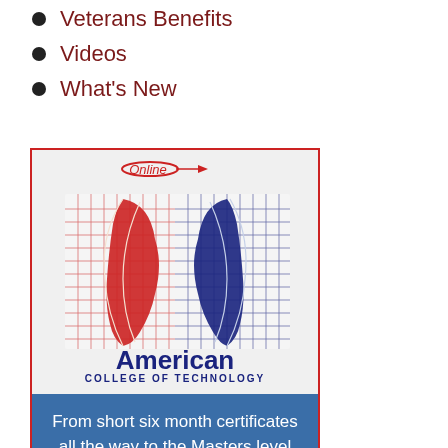Veterans Benefits
Videos
What's New
[Figure (logo): American College of Technology Online logo with red and blue globe faces graphic]
From short six month certificates all the way to the Masters level with tuition rates that are half the national average.
Enjoy the benefits of